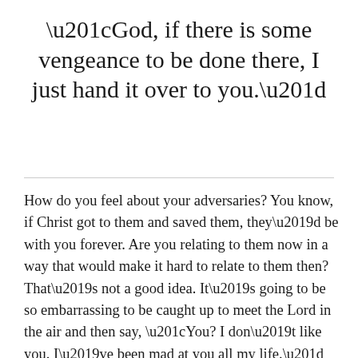“God, if there is some vengeance to be done there, I just hand it over to you.”
How do you feel about your adversaries? You know, if Christ got to them and saved them, they’d be with you forever. Are you relating to them now in a way that would make it hard to relate to them then? That’s not a good idea. It’s going to be so embarrassing to be caught up to meet the Lord in the air and then say, “You? I don’t like you. I’ve been mad at you all my life.” That’s not a good idea. You should be praying that God would save